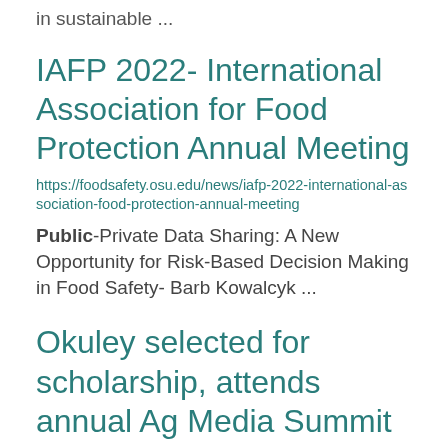in sustainable ...
IAFP 2022- International Association for Food Protection Annual Meeting
https://foodsafety.osu.edu/news/iafp-2022-international-association-food-protection-annual-meeting
Public-Private Data Sharing: A New Opportunity for Risk-Based Decision Making in Food Safety- Barb Kowalcyk ...
Okuley selected for scholarship, attends annual Ag Media Summit
https://acel.osu.edu/news/okuley-selected-